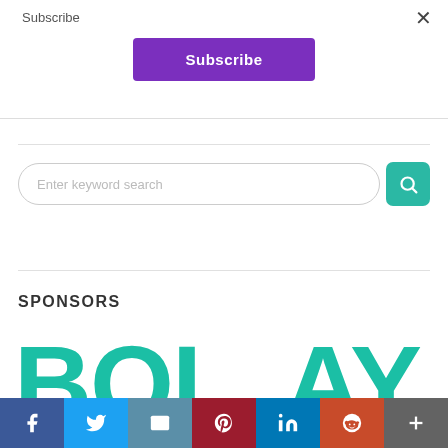Subscribe
×
Subscribe
Enter keyword search
SPONSORS
[Figure (logo): Bolay sponsor logo in teal/green color, large text partially visible]
[Figure (infographic): Social share bar with icons: Facebook, Twitter, Email, Pinterest, LinkedIn, Reddit, More]